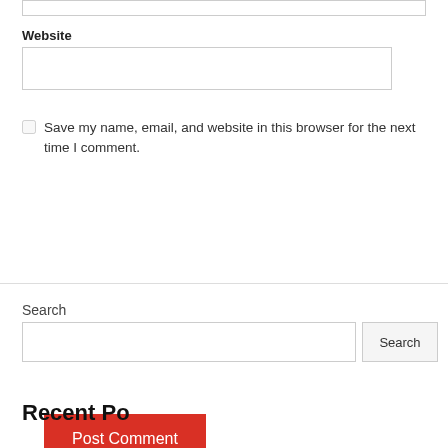[Figure (screenshot): Top portion of a text input box (partially visible at the top of the page)]
Website
[Figure (screenshot): Empty text input field for website URL]
Save my name, email, and website in this browser for the next time I comment.
Post Comment
Search
Search
Recent Posts